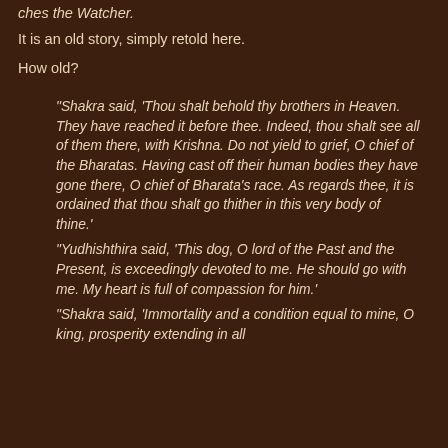...ches the Watcher.
It is an old story, simply retold here.
How old?
"Shakra said, 'Thou shalt behold thy brothers in Heaven. They have reached it before thee. Indeed, thou shalt see all of them there, with Krishna. Do not yield to grief, O chief of the Bharatas. Having cast off their human bodies they have gone there, O chief of Bharata's race. As regards thee, it is ordained that thou shalt go thither in this very body of thine.'
"Yudhishthira said, 'This dog, O lord of the Past and the Present, is exceedingly devoted to me. He should go with me. My heart is full of compassion for him.'
"Shakra said, 'Immortality and a condition equal to mine, O king, prosperity extending in all